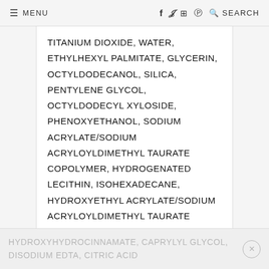≡ MENU   f  Twitter  Instagram  Pinterest  🔍 SEARCH
TITANIUM DIOXIDE, WATER, ETHYLHEXYL PALMITATE, GLYCERIN, OCTYLDODECANOL, SILICA, PENTYLENE GLYCOL, OCTYLDODECYL XYLOSIDE, PHENOXYETHANOL, SODIUM ACRYLATE/SODIUM ACRYLOYLDIMETHYL TAURATE COPOLYMER, HYDROGENATED LECITHIN, ISOHEXADECANE, HYDROXYETHYL ACRYLATE/SODIUM ACRYLOYLDIMETHYL TAURATE COPOLYMER, PEG-30 DIPOLYHYDROXYSTEARATE, SODIUM DEHYDROACETATE, PENTAERYTHRITYL TETRA-DI-T-BUTYL
HYDROXYHYDROCINNAMATE, CAPRYLYL GLYCOL, DISODIUM EDTA, CITRIC ACID